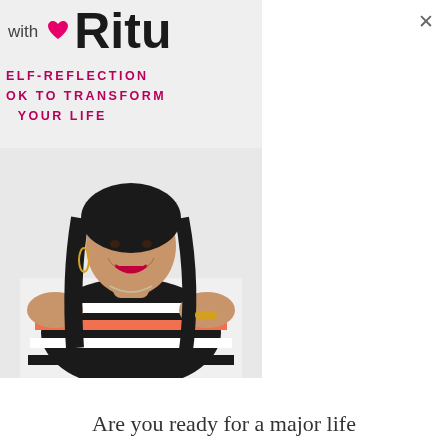[Figure (photo): Book cover for a self-reflection book featuring the author Ritu. The cover shows text 'with Ritu' at the top, subtitle 'SELF-REFLECTION BOOK TO TRANSFORM YOUR LIFE' in pink/magenta uppercase letters, and a photo of a woman (Ritu) in a black and white striped off-shoulder top with orange accents, smiling and resting her chin on her hand.]
Are you ready for a major life